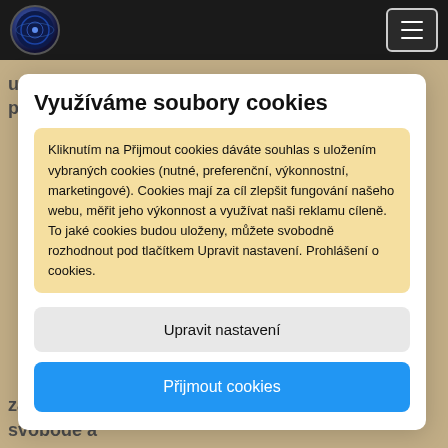upravovat drobné věci, získali stálý pracovní poměr a
Využíváme soubory cookies
Kliknutím na Přijmout cookies dáváte souhlas s uložením vybraných cookies (nutné, preferenční, výkonnostní, marketingové). Cookies mají za cíl zlepšit fungování našeho webu, měřit jeho výkonnost a využívat naši reklamu cíleně. To jaké cookies budou uloženy, můžete svobodně rozhodnout pod tlačítkem Upravit nastavení. Prohlášení o cookies.
Upravit nastavení
Přijmout cookies
zároveň nicoty, imaginace, tak blízko cesty ke svobodě a